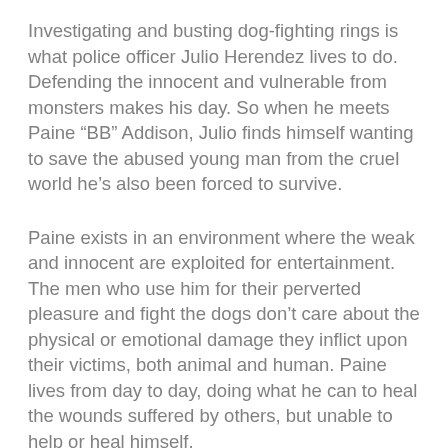Investigating and busting dog-fighting rings is what police officer Julio Herendez lives to do. Defending the innocent and vulnerable from monsters makes his day. So when he meets Paine “BB” Addison, Julio finds himself wanting to save the abused young man from the cruel world he’s also been forced to survive.
Paine exists in an environment where the weak and innocent are exploited for entertainment. The men who use him for their perverted pleasure and fight the dogs don’t care about the physical or emotional damage they inflict upon their victims, both animal and human. Paine lives from day to day, doing what he can to heal the wounds suffered by others, but unable to help or heal himself.
When Julio and Paine meet, it triggers a chain of events that rocks both their worlds to the foundations. But can they also bring justice for the silent victims?